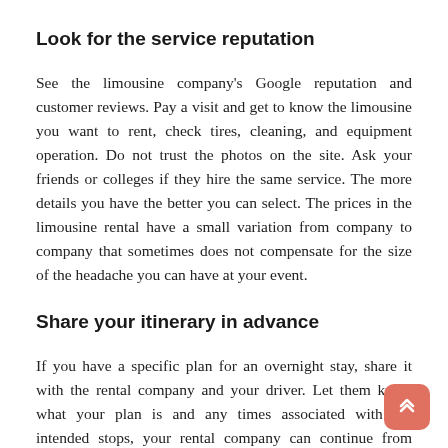Look for the service reputation
See the limousine company's Google reputation and customer reviews. Pay a visit and get to know the limousine you want to rent, check tires, cleaning, and equipment operation. Do not trust the photos on the site. Ask your friends or colleges if they hire the same service. The more details you have the better you can select. The prices in the limousine rental have a small variation from company to company that sometimes does not compensate for the size of the headache you can have at your event.
Share your itinerary in advance
If you have a specific plan for an overnight stay, share it with the rental company and your driver. Let them know what your plan is and any times associated with the intended stops, your rental company can continue from there. They will get you where you are going on time and hit all the stops you would like to